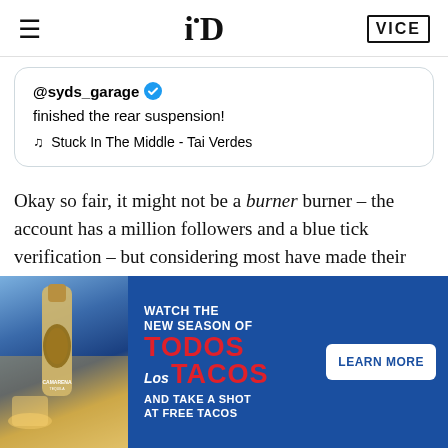i-D | VICE
[Figure (screenshot): Tweet from @syds_garage (blue tick verified): 'finished the rear suspension!' with music note and 'Stuck In The Middle - Tai Verdes']
Okay so fair, it might not be a burner burner – the account has a million followers and a blue tick verification – but considering most have made their names on TikTok through dance videos or, in the case of celebrities, riffing off of
[Figure (infographic): Camarena Tequila advertisement: 'WATCH THE NEW SEASON OF TODOS LOS TACOS AND TAKE A SHOT AT FREE TACOS' with LEARN MORE button and tequila bottle image]